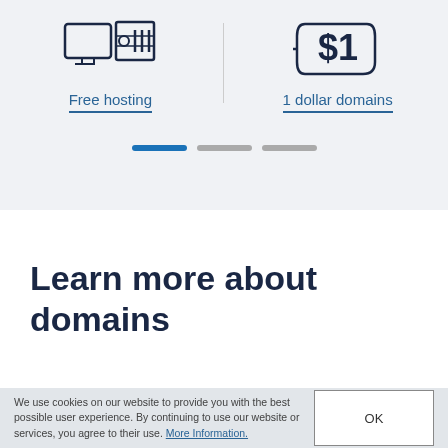[Figure (illustration): Icon of a computer/server with hosting imagery (monitor and rack) on the left, and a dollar sign icon on the right representing 1 dollar domains]
Free hosting
1 dollar domains
[Figure (infographic): Three horizontal pill/dot indicators: first is blue (active), second and third are gray]
Learn more about domains
We use cookies on our website to provide you with the best possible user experience. By continuing to use our website or services, you agree to their use. More Information.